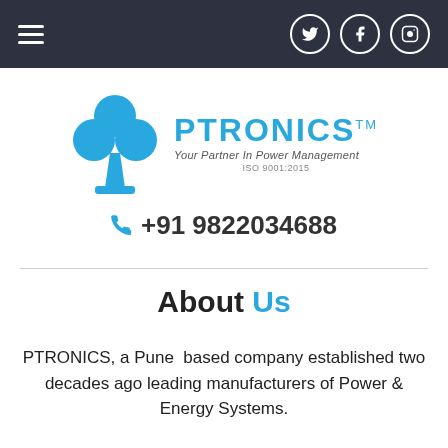Navigation bar with hamburger menu and social icons (Twitter, Facebook, Instagram)
[Figure (logo): PTRONICS logo with blue club symbol, brand name PTRONICS TM, tagline 'Your Partner In Power Management', ISO 9001:2015]
+91 9822034688
About Us
PTRONICS, a Pune based company established two decades ago leading manufacturers of Power & Energy Systems.